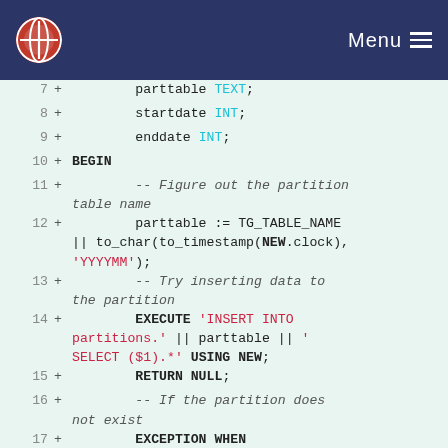Menu
[Figure (screenshot): Code diff/editor showing SQL/PL lines 7-18 with line numbers, plus signs, and syntax highlighting on a light green background. Keywords in bold, types in cyan, strings in red.]